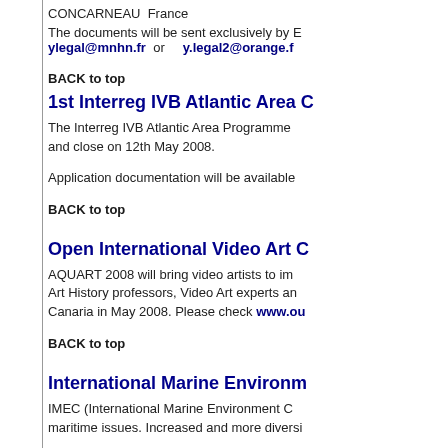CONCARNEAU  France
The documents will be sent exclusively by E ylegal@mnhn.fr  or  y.legal2@orange.f
BACK to top
1st Interreg IVB Atlantic Area C
The Interreg IVB Atlantic Area Programme and close on 12th May 2008.
Application documentation will be available
BACK to top
Open International Video Art C
AQUART 2008 will bring video artists to im Art History professors, Video Art experts an Canaria in May 2008. Please check www.ou
BACK to top
International Marine Environm
IMEC (International Marine Environment C maritime issues. Increased and more diversi